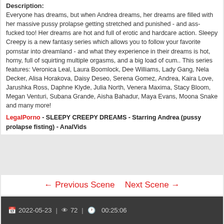Description:
Everyone has dreams, but when Andrea dreams, her dreams are filled with her massive pussy prolapse getting stretched and punished - and ass-fucked too! Her dreams are hot and full of erotic and hardcare action. Sleepy Creepy is a new fantasy series which allows you to follow your favorite pornstar into dreamland - and what they experience in their dreams is hot, horny, full of squirting multiple orgasms, and a big load of cum.. This series features: Veronica Leal, Laura Boomlock, Dee Williams, Lady Gang, Nela Decker, Alisa Horakova, Daisy Deseo, Serena Gomez, Andrea, Kaira Love, Jarushka Ross, Daphne Klyde, Julia North, Venera Maxima, Stacy Bloom, Megan Venturi, Subana Grande, Aisha Bahadur, Maya Evans, Moona Snake and many more!
LegalPorno - SLEEPY CREEPY DREAMS - Starring Andrea (pussy prolapse fisting) - AnalVids
← Previous Scene   Next Scene →
2022-05-23  |  72  |  00:25:06